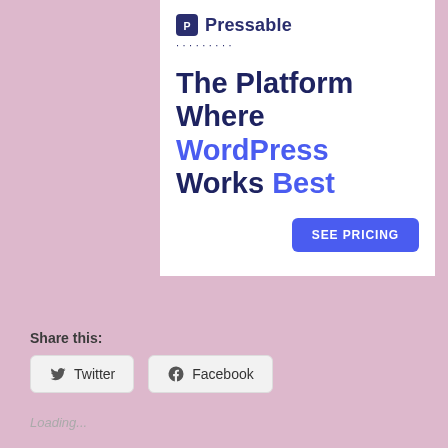[Figure (logo): Pressable logo: blue square icon with 'P' letter and 'Pressable' text in dark navy]
..........
The Platform Where WordPress Works Best
SEE PRICING
Share this:
Twitter
Facebook
Loading...